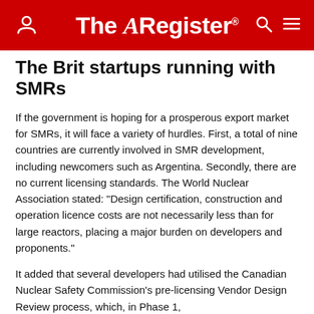The Register
The Brit startups running with SMRs
If the government is hoping for a prosperous export market for SMRs, it will face a variety of hurdles. First, a total of nine countries are currently involved in SMR development, including newcomers such as Argentina. Secondly, there are no current licensing standards. The World Nuclear Association stated: "Design certification, construction and operation licence costs are not necessarily less than for large reactors, placing a major burden on developers and proponents."
It added that several developers had utilised the Canadian Nuclear Safety Commission's pre-licensing Vendor Design Review process, which, in Phase 1,